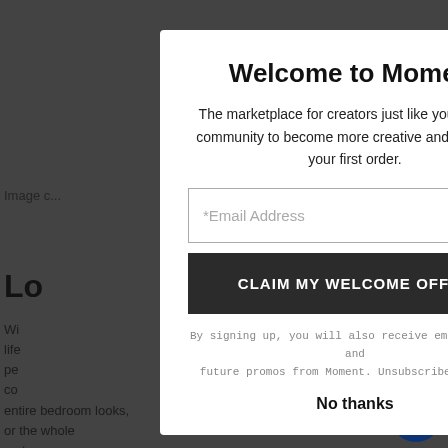[Figure (screenshot): Background webpage partially visible behind modal overlay, showing 'Image c...' text, 'Lo...' heading, and partial paragraph text about lifestyle/bedroom looks]
Welcome to Moment
The marketplace for creators just like you. Join the community to become more creative and save $ on your first order.
*Email Address
CLAIM MY WELCOME OFFER
By signing up, you will also receive email updates and future promos from Moment. Unsubscribe anytime.
No thanks